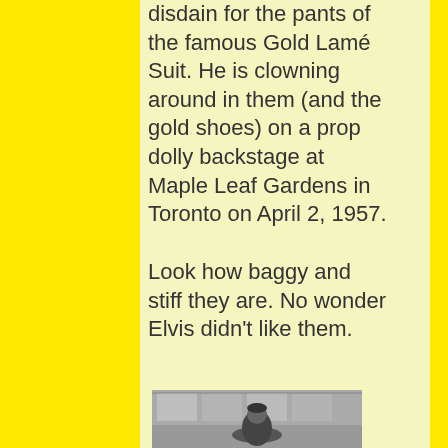disdain for the pants of the famous Gold Lamé Suit. He is clowning around in them (and the gold shoes) on a prop dolly backstage at Maple Leaf Gardens in Toronto on April 2, 1957.
Look how baggy and stiff they are. No wonder Elvis didn't like them.
[Figure (photo): Black and white photograph showing a partial view of a person, with posters or images visible in the background]